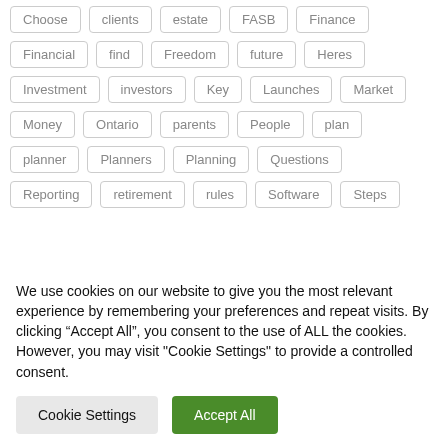Choose
clients
estate
FASB
Finance
Financial
find
Freedom
future
Heres
Investment
investors
Key
Launches
Market
Money
Ontario
parents
People
plan
planner
Planners
Planning
Questions
Reporting
retirement
rules
Software
Steps
We use cookies on our website to give you the most relevant experience by remembering your preferences and repeat visits. By clicking “Accept All”, you consent to the use of ALL the cookies. However, you may visit "Cookie Settings" to provide a controlled consent.
Cookie Settings
Accept All